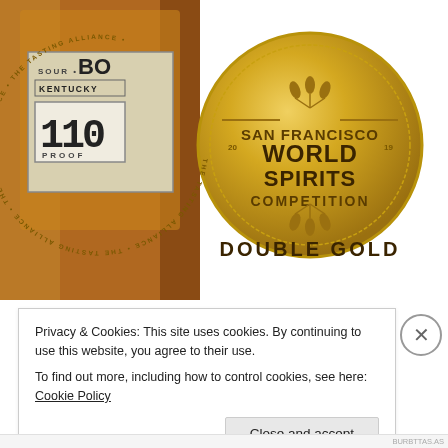[Figure (photo): A bourbon bottle (Kentucky Straight Bourbon Whiskey, 110 Proof) with a beige/gold label showing 'SOUR • BO[URBON]' and 'KENTUCKY' text, alongside a large gold San Francisco World Spirits Competition Double Gold medal coin overlapping the bottle.]
Privacy & Cookies: This site uses cookies. By continuing to use this website, you agree to their use.
To find out more, including how to control cookies, see here: Cookie Policy
Close and accept